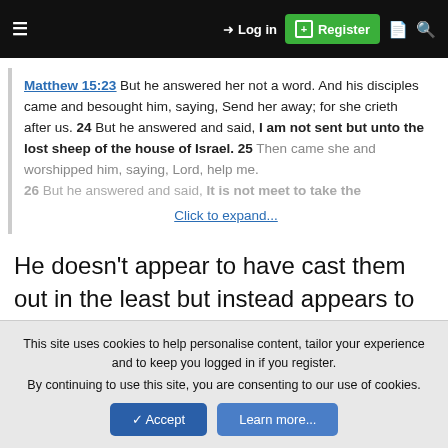≡  →] Log in  [+] Register  📄  🔍
Matthew 15:23 But he answered her not a word. And his disciples came and besought him, saying, Send her away; for she crieth after us. 24 But he answered and said, I am not sent but unto the lost sheep of the house of Israel. 25 Then came she and worshipped him, saying, Lord, help me. 26 But he answered and said, It is not meet to take the Click to expand...
He doesn't appear to have cast them out in the least but instead appears to making it clear that He is sent directly to them.
This site uses cookies to help personalise content, tailor your experience and to keep you logged in if you register.
By continuing to use this site, you are consenting to our use of cookies.